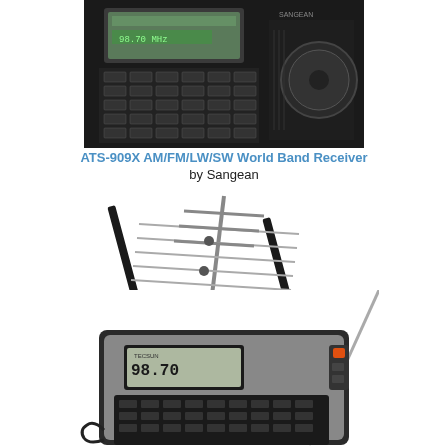[Figure (photo): ATS-909X AM/FM/LW/SW World Band Receiver by Sangean — top portion of a black multi-band radio receiver with display, keypad, and tuning knob, cropped at bottom]
ATS-909X AM/FM/LW/SW World Band Receiver
by Sangean
[Figure (photo): 4221HD Multi-Bay UHF Short Range HDTV Antenna by Channel Master — outdoor TV antenna with multiple elements on a horizontal boom, viewed at an angle]
4221HD Multi-Bay UHF
Short Range HDTV Antenna
by Channel Master
[Figure (photo): TECSUN PL-660 portable shortwave radio — black radio with gray front panel, digital display showing 98.70, numeric keypad, and extended antenna]